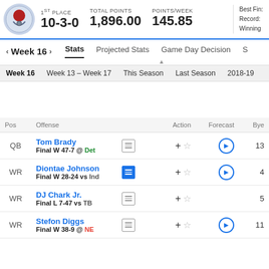1ST PLACE  10-3-0  TOTAL POINTS  1,896.00  POINTS/WEEK  145.85
Best Fin: Record: Winning
< Week 16 >  Stats  Projected Stats  Game Day Decision  S
Week 16  Week 13 - Week 17  This Season  Last Season  2018-19
| Pos | Offense |  | Action | Forecast | Bye |
| --- | --- | --- | --- | --- | --- |
| QB | Tom Brady
Final W 47-7 @ Det | ≡ | + ☆ | ▶ | 13 |
| WR | Diontae Johnson
Final W 28-24 vs Ind | ≡ | + ☆ | ▶ | 4 |
| WR | DJ Chark Jr.
Final L 7-47 vs TB | ≡ | + ☆ |  | 5 |
| WR | Stefon Diggs
Final W 38-9 @ NE | ≡ | + ☆ | ▶ | 11 |